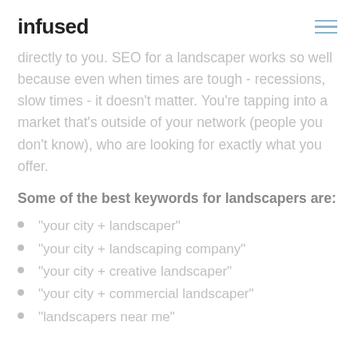infused
directly to you. SEO for a landscaper works so well because even when times are tough - recessions, slow times - it doesn't matter. You're tapping into a market that's outside of your network (people you don't know), who are looking for exactly what you offer.
Some of the best keywords for landscapers are:
"your city + landscaper"
"your city + landscaping company"
"your city + creative landscaper"
"your city + commercial landscaper"
"landscapers near me"